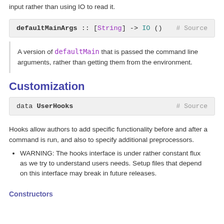input rather than using IO to read it.
defaultMainArgs :: [String] -> IO ()
A version of defaultMain that is passed the command line arguments, rather than getting them from the environment.
Customization
data UserHooks
Hooks allow authors to add specific functionality before and after a command is run, and also to specify additional preprocessors.
WARNING: The hooks interface is under rather constant flux as we try to understand users needs. Setup files that depend on this interface may break in future releases.
Constructors